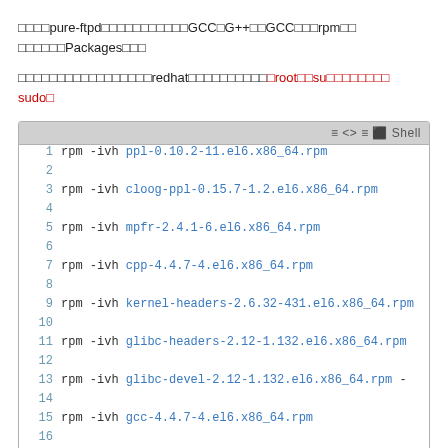安装pure-ftpd所需要的依赖包，以及GCC、G++和GCC的rpm包，请到相关Packages找到。
下面安装步骤中，所有命令基于redhat系列系统，需要切换到root或者su来执行，或者使用sudo。
[Figure (screenshot): Shell code block showing rpm -ivh commands for installing ppl, cloog-ppl, mpfr, cpp, kernel-headers, glibc-headers, glibc-devel, gcc, libstdc++-devel packages on el6 x86_64]